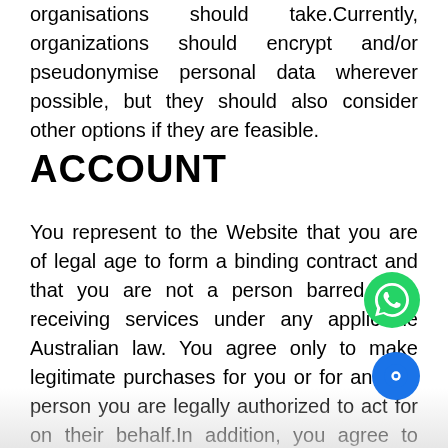organisations should take.Currently, organizations should encrypt and/or pseudonymise personal data wherever possible, but they should also consider other options if they are feasible.
ACCOUNT
You represent to the Website that you are of legal age to form a binding contract and that you are not a person barred from receiving services under any applicable Australian law. You agree only to make legitimate purchases for you or for another person you are legally authorized to act for on their behalf.In addition, you agree to provide true, accurate, current, and complete information about yourself as prompted by the Website.You